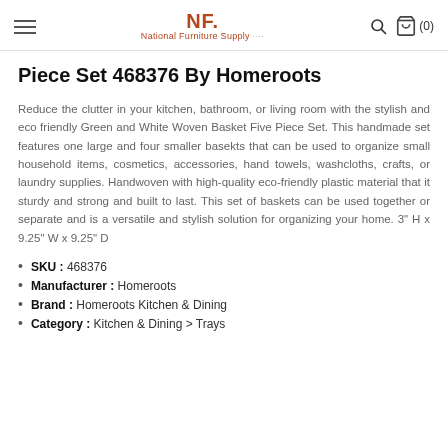National Furniture Supply
Piece Set 468376 By Homeroots
Reduce the clutter in your kitchen, bathroom, or living room with the stylish and eco friendly Green and White Woven Basket Five Piece Set. This handmade set features one large and four smaller basekts that can be used to organize small household items, cosmetics, accessories, hand towels, washcloths, crafts, or laundry supplies. Handwoven with high-quality eco-friendly plastic material that it sturdy and strong and built to last. This set of baskets can be used together or separate and is a versatile and stylish solution for organizing your home. 3" H x 9.25" W x 9.25" D
SKU : 468376
Manufacturer : Homeroots
Brand : Homeroots Kitchen & Dining
Category : Kitchen & Dining > Trays